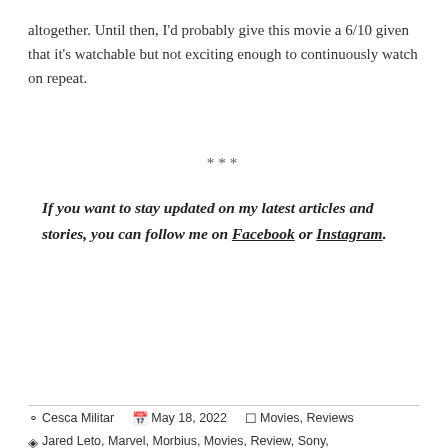altogether. Until then, I'd probably give this movie a 6/10 given that it's watchable but not exciting enough to continuously watch on repeat.
***
If you want to stay updated on my latest articles and stories, you can follow me on Facebook or Instagram.
Cesca Militar   May 18, 2022   Movies, Reviews   Jared Leto, Marvel, Morbius, Movies, Review, Sony, Spider-Man